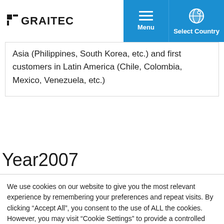GRAITEC | Menu | Select Country
Asia (Philippines, South Korea, etc.) and first customers in Latin America (Chile, Colombia, Mexico, Venezuela, etc.)
Year2007
We use cookies on our website to give you the most relevant experience by remembering your preferences and repeat visits. By clicking “Accept All”, you consent to the use of ALL the cookies. However, you may visit "Cookie Settings" to provide a controlled consent.